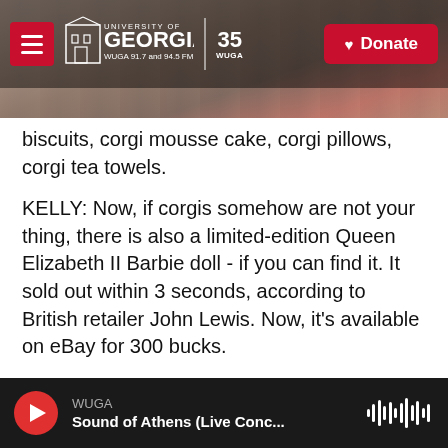University of Georgia WUGA 91.7 and 94.5 FM | 35 WUGA | Donate
biscuits, corgi mousse cake, corgi pillows, corgi tea towels.
KELLY: Now, if corgis somehow are not your thing, there is also a limited-edition Queen Elizabeth II Barbie doll - if you can find it. It sold out within 3 seconds, according to British retailer John Lewis. Now, it's available on eBay for 300 bucks.
ANNE MIDDLETON: I'm from Wales, I'm from Cardiff - so anything with either a union jack or a dragon, and I've been buying it, so - we all have.
CHANG: Our London producer spoke to Anne
WUGA | Sound of Athens (Live Conc...